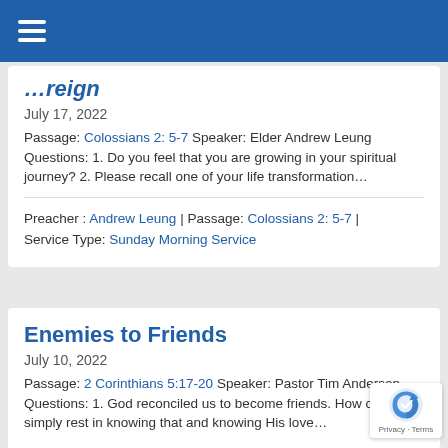Reign
July 17, 2022
Passage: Colossians 2: 5-7 Speaker: Elder Andrew Leung   Questions: 1. Do you feel that you are growing in your spiritual journey? 2. Please recall one of your life transformation…
Preacher : Andrew Leung | Passage: Colossians 2: 5-7 | Service Type: Sunday Morning Service
Enemies to Friends
July 10, 2022
Passage: 2 Corinthians 5:17-20 Speaker: Pastor Tim Anderson   Questions: 1. God reconciled us to become friends. How can you simply rest in knowing that and knowing His love…